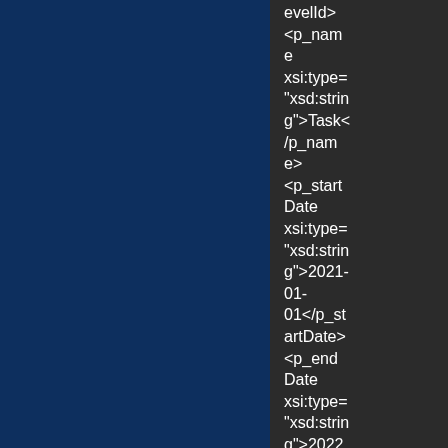| Field | Type |
| --- | --- |
| p_startDate | string |
| p_endDate | string |
evelId><p_name xsi:type="xsd:string">Task</p_name><p_startDate xsi:type="xsd:string">2021-01-01</p_startDate><p_endDate xsi:type="xsd:string">2022-01-